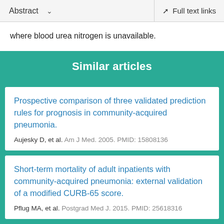Abstract  ∨    Full text links
where blood urea nitrogen is unavailable.
Similar articles
Prospective comparison of three validated prediction rules for prognosis in community-acquired pneumonia.
Aujesky D, et al. Am J Med. 2005. PMID: 15808136
Short-term mortality of adult inpatients with community-acquired pneumonia: external validation of a modified CURB-65 score.
Pflug MA, et al. Postgrad Med J. 2015. PMID: 25618316